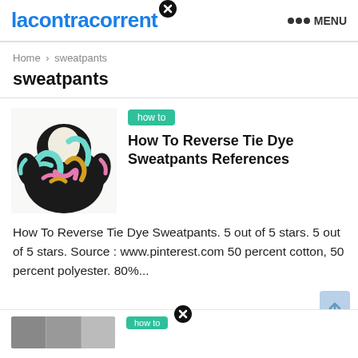lacontracorrent  ••• MENU
Home > sweatpants
sweatpants
[Figure (photo): Colorful tie-dye hoodie sweatshirt with black, teal, pink, and yellow pattern]
How To Reverse Tie Dye Sweatpants References
how to
How To Reverse Tie Dye Sweatpants. 5 out of 5 stars. 5 out of 5 stars. Source : www.pinterest.com 50 percent cotton, 50 percent polyester. 80%...